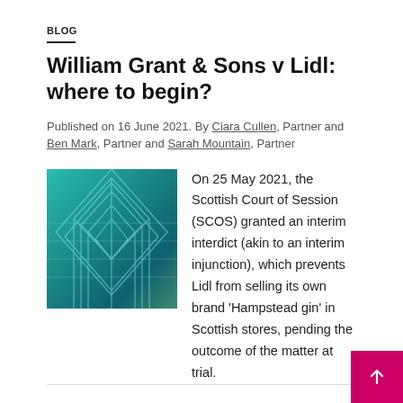BLOG
William Grant & Sons v Lidl: where to begin?
Published on 16 June 2021. By Ciara Cullen, Partner and Ben Mark, Partner and Sarah Mountain, Partner
[Figure (photo): Photo of a modern glass building with geometric teal/green tones viewed from below]
On 25 May 2021, the Scottish Court of Session (SCOS) granted an interim interdict (akin to an interim injunction), which prevents Lidl from selling its own brand 'Hampstead gin' in Scottish stores, pending the outcome of the matter at trial.
→ READ MORE